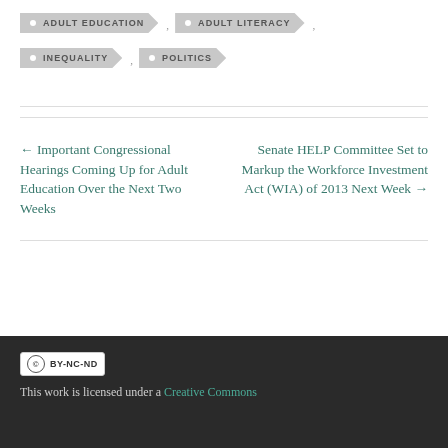ADULT EDUCATION
ADULT LITERACY
INEQUALITY
POLITICS
← Important Congressional Hearings Coming Up for Adult Education Over the Next Two Weeks
Senate HELP Committee Set to Markup the Workforce Investment Act (WIA) of 2013 Next Week →
This work is licensed under a Creative Commons